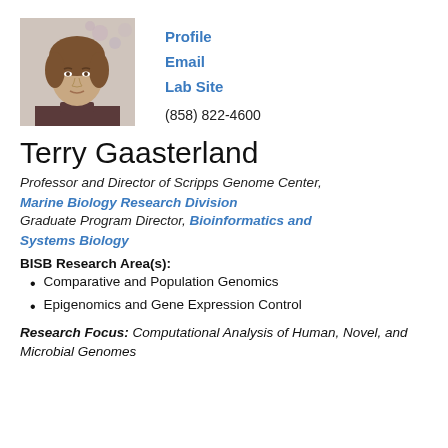[Figure (photo): Headshot photo of Terry Gaasterland, a woman with short brown hair wearing a dark turtleneck, with a floral background]
Profile
Email
Lab Site
(858) 822-4600
Terry Gaasterland
Professor and Director of Scripps Genome Center, Marine Biology Research Division
Graduate Program Director, Bioinformatics and Systems Biology
BISB Research Area(s):
Comparative and Population Genomics
Epigenomics and Gene Expression Control
Research Focus: Computational Analysis of Human, Novel, and Microbial Genomes